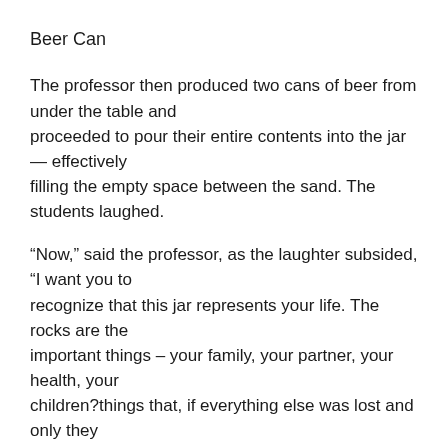Beer Can
The professor then produced two cans of beer from under the table and proceeded to pour their entire contents into the jar — effectively filling the empty space between the sand. The students laughed.
“Now,” said the professor, as the laughter subsided, “I want you to recognize that this jar represents your life. The rocks are the important things – your family, your partner, your health, your children?things that, if everything else was lost and only they remained, your life would still be full. The pebbles are the other